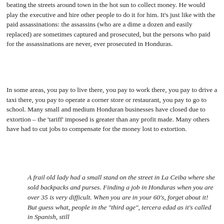beating the streets around town in the hot sun to collect money. He would play the executive and hire other people to do it for him. It's just like with the paid assassinations: the assassins (who are a dime a dozen and easily replaced) are sometimes captured and prosecuted, but the persons who paid for the assassinations are never, ever prosecuted in Honduras.
In some areas, you pay to live there, you pay to work there, you pay to drive a taxi there, you pay to operate a corner store or restaurant, you pay to go to school. Many small and medium Honduran businesses have closed due to extortion – the 'tariff' imposed is greater than any profit made. Many others have had to cut jobs to compensate for the money lost to extortion.
A frail old lady had a small stand on the street in La Ceiba where she sold backpacks and purses. Finding a job in Honduras when you are over 35 is very difficult. When you are in your 60's, forget about it! But guess what, people in the "third age", tercera edad as it's called in Spanish, still